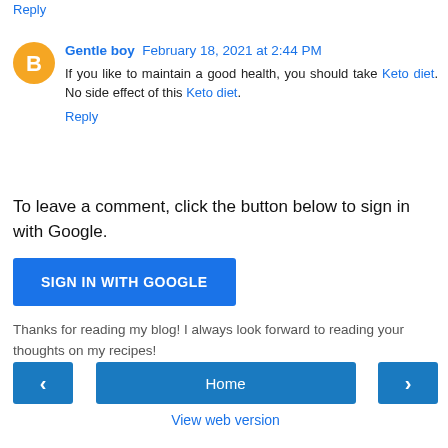Reply
Gentle boy  February 18, 2021 at 2:44 PM
If you like to maintain a good health, you should take Keto diet. No side effect of this Keto diet.
Reply
To leave a comment, click the button below to sign in with Google.
SIGN IN WITH GOOGLE
Thanks for reading my blog! I always look forward to reading your thoughts on my recipes!
Home
View web version